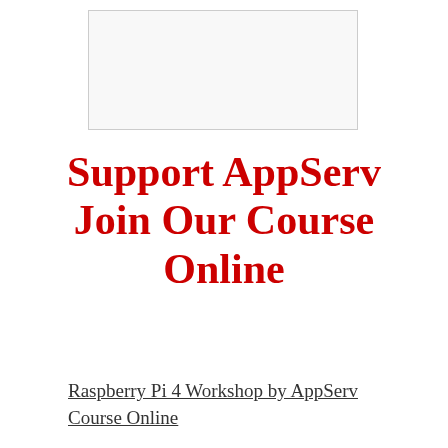[Figure (other): White rectangular image placeholder with a thin grey border at the top of the page]
Support AppServ Join Our Course Online
Raspberry Pi 4 Workshop by AppServ Course Online